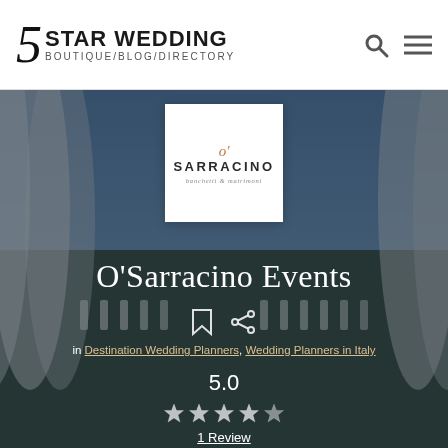5 STAR WEDDING BOUTIQUE/BLOG/DIRECTORY
[Figure (logo): O'Sarracino banchetti & matrimoni logo — white square with stylized apostrophe in orange/copper, SARRACINO in bold caps, tagline in italic below]
O'Sarracino Events
in Destination Wedding Planners, Wedding Planners in Italy
5.0
1 Review